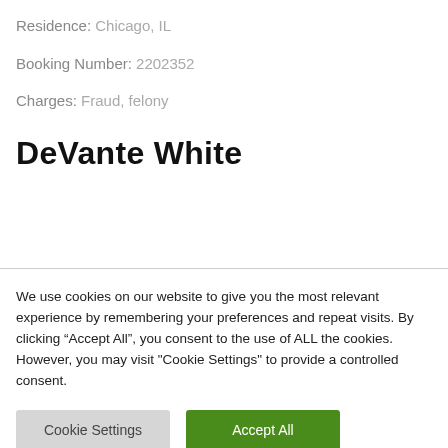Residence: Chicago, IL
Booking Number: 2202352
Charges: Fraud, felony
DeVante White
We use cookies on our website to give you the most relevant experience by remembering your preferences and repeat visits. By clicking “Accept All”, you consent to the use of ALL the cookies. However, you may visit "Cookie Settings" to provide a controlled consent.